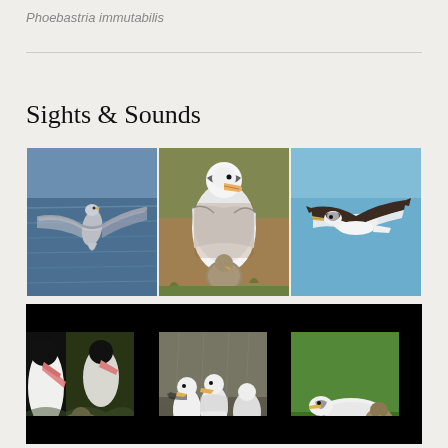Phoebastria immutabilis
Sights & Sounds
[Figure (photo): Three photos of Laysan Albatross in a horizontal strip: left shows a bird in flight over water from below, center shows an adult albatross with a chick on the ground, right shows an albatross in flight against blue sky from the side.]
[Figure (photo): Three video-frame style photos of Laysan Albatross on black background: left shows close-up of birds with chick in vegetation, center shows adults standing in a group, right shows adult albatross with chick resting on grass.]